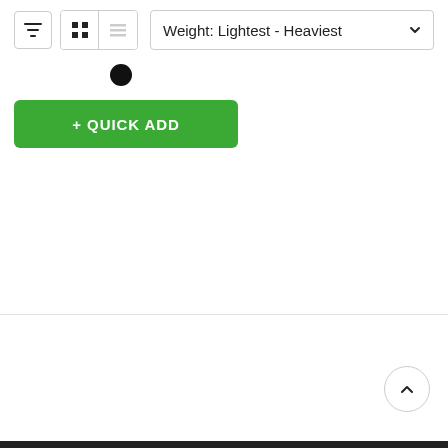[Figure (screenshot): Toolbar with filter icon button, grid/list view toggle buttons, and sort dropdown showing 'Weight: Lightest - Heaviest']
[Figure (other): Black filled circle dot, color swatch indicator]
[Figure (other): Green '+ QUICK ADD' button]
[Figure (other): Scroll-to-top circular button with upward chevron arrow]